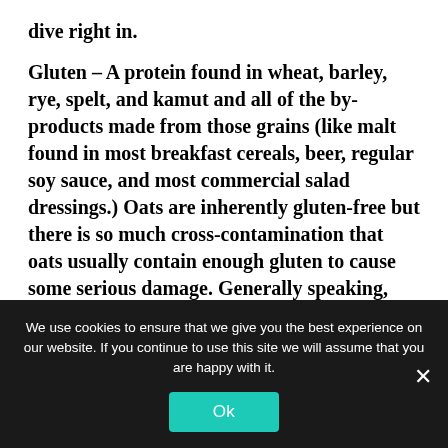dive right in.
Gluten – A protein found in wheat, barley, rye, spelt, and kamut and all of the by-products made from those grains (like malt found in most breakfast cereals, beer, regular soy sauce, and most commercial salad dressings.) Oats are inherently gluten-free but there is so much cross-contamination that oats usually contain enough gluten to cause some serious damage. Generally speaking, stay away from processed foods with ingredients you can't pronounce and anything with regular flour (pasta, pizza, 99% of the bread and
We use cookies to ensure that we give you the best experience on our website. If you continue to use this site we will assume that you are happy with it.